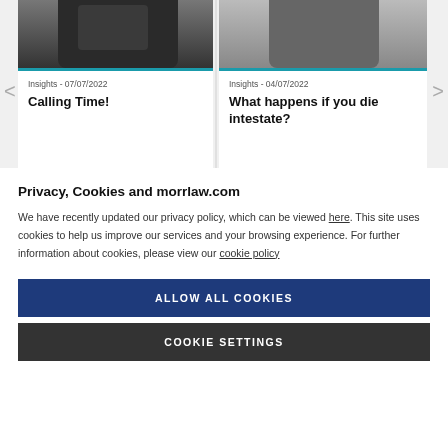[Figure (screenshot): Two article cards with photos. Left card: 'Insights - 07/07/2022', title 'Calling Time!'. Right card: 'Insights - 04/07/2022', title 'What happens if you die intestate?'. Navigation arrows on left and right edges.]
Privacy, Cookies and morrlaw.com
We have recently updated our privacy policy, which can be viewed here. This site uses cookies to help us improve our services and your browsing experience. For further information about cookies, please view our cookie policy
ALLOW ALL COOKIES
COOKIE SETTINGS